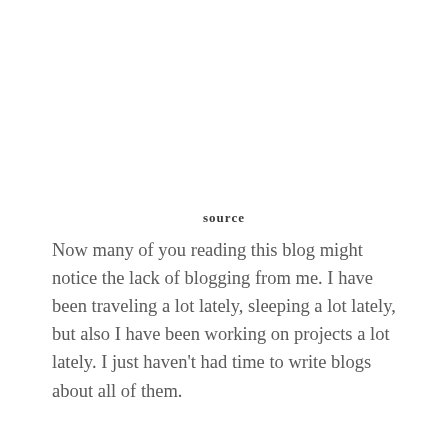source
Now many of you reading this blog might notice the lack of blogging from me. I have been traveling a lot lately, sleeping a lot lately, but also I have been working on projects a lot lately. I just haven't had time to write blogs about all of them.